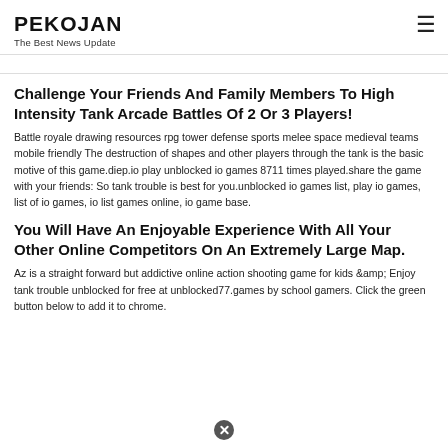PEKOJAN
The Best News Update
...
Challenge Your Friends And Family Members To High Intensity Tank Arcade Battles Of 2 Or 3 Players!
Battle royale drawing resources rpg tower defense sports melee space medieval teams mobile friendly The destruction of shapes and other players through the tank is the basic motive of this game.diep.io play unblocked io games 8711 times played.share the game with your friends: So tank trouble is best for you.unblocked io games list, play io games, list of io games, io list games online, io game base.
You Will Have An Enjoyable Experience With All Your Other Online Competitors On An Extremely Large Map.
Az is a straight forward but addictive online action shooting game for kids &amp; Enjoy tank trouble unblocked for free at unblocked77.games by school gamers. Click the green button below to add it to chrome.